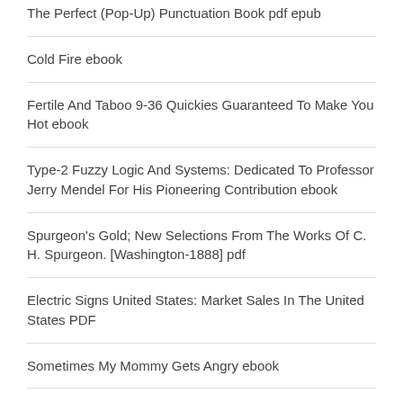The Perfect (Pop-Up) Punctuation Book pdf epub
Cold Fire ebook
Fertile And Taboo 9-36 Quickies Guaranteed To Make You Hot ebook
Type-2 Fuzzy Logic And Systems: Dedicated To Professor Jerry Mendel For His Pioneering Contribution ebook
Spurgeon's Gold; New Selections From The Works Of C. H. Spurgeon. [Washington-1888] pdf
Electric Signs United States: Market Sales In The United States PDF
Sometimes My Mommy Gets Angry ebook
Jasper Nose Best ebook